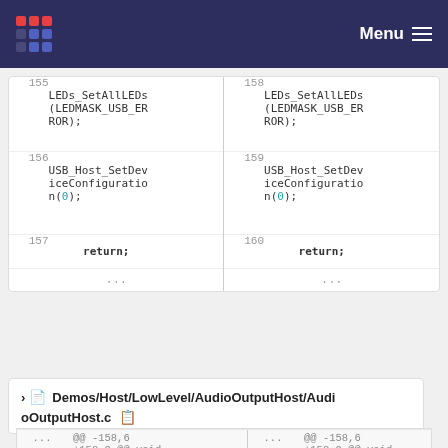Menu
[Figure (screenshot): Code diff view showing two columns with line numbers 155-157 and 158-160, containing LEDs_SetAllLEDs(LEDMASK_USB_ERROR); USB_Host_SetDeviceConfiguration(0); return;]
Demos/Host/LowLevel/AudioOutputHost/AudioOutputHost.c
| ... | @@ -158,6 +158,9 @@ void EVENT_USB_Host_Dev | ... | @@ -158,6 +158,9 @@ void EVENT_USB_Host_Device |
| --- | --- | --- | --- |